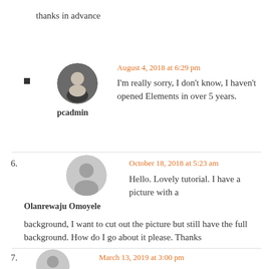thanks in advance
August 4, 2018 at 6:29 pm
pcadmin
I'm really sorry, I don't know, I haven't opened Elements in over 5 years.
6. Olanrewaju Omoyele
October 18, 2018 at 5:23 am
Hello. Lovely tutorial. I have a picture with a background, I want to cut out the picture but still have the full background. How do I go about it please. Thanks
7. March 13, 2019 at 3:00 pm